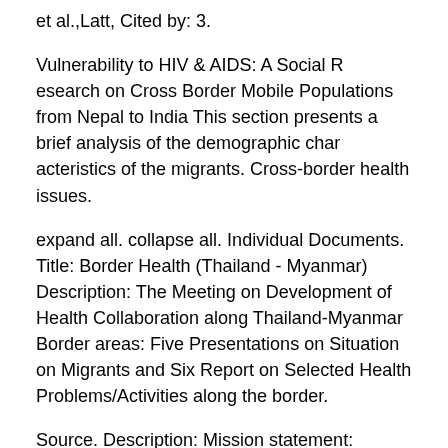et al.,Latt, Cited by: 3.
Vulnerability to HIV & AIDS: A Social R esearch on Cross Border Mobile Populations from Nepal to India This section presents a brief analysis of the demographic char acteristics of the migrants. Cross-border health issues.
expand all. collapse all. Individual Documents. Title: Border Health (Thailand - Myanmar) Description: The Meeting on Development of Health Collaboration along Thailand-Myanmar Border areas: Five Presentations on Situation on Migrants and Six Report on Selected Health Problems/Activities along the border.
Source. Description: Mission statement: Mission: The Mae Tao Clinic (MTC) is a health service provider and training centre, established to contribute and promote accessible quality health care among displaced Burmese and ethnic people along the Thai-Burma border.
In addition to the comprehensive services provided at its onsite facilities, MTC also promotes general